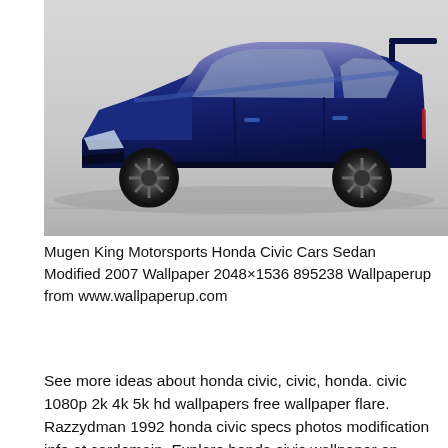[Figure (photo): Side profile photo of a dark blue Honda Civic sedan with a rear spoiler wing and dark alloy wheels, on a light grey background. Modified/tuned appearance with lowered suspension and body kit.]
Mugen King Motorsports Honda Civic Cars Sedan Modified 2007 Wallpaper 2048×1536 895238 Wallpaperup from www.wallpaperup.com
See more ideas about honda civic, civic, honda. civic 1080p 2k 4k 5k hd wallpapers free wallpaper flare. Razzydman 1992 honda civic specs photos modification info at cardomain. Explore honda civic wallpaper on wallpapersafari. find more items